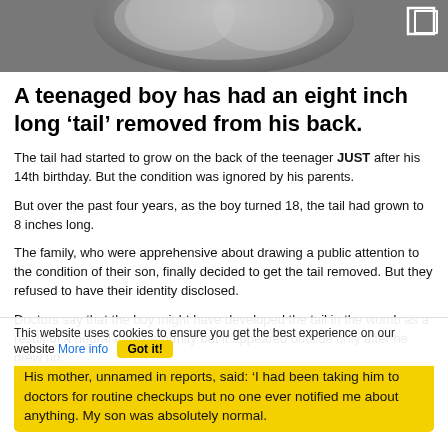[Figure (photo): Grayscale medical scan image (appears to be a CT scan), cropped at the top of the page]
A teenaged boy has had an eight inch long ‘tail’ removed from his back.
The tail had started to grow on the back of the teenager JUST after his 14th birthday. But the condition was ignored by his parents.
But over the past four years, as the boy turned 18, the tail had grown to 8 inches long.
The family, who were apprehensive about drawing a public attention to the condition of their son, finally decided to get the tail removed. But they refused to have their identity disclosed.
Doctors say that the boy might have developed the tail in the womb as a result of a neural tube deformity but it appeared outside only after he grew up.
His mother, unnamed in reports, said: ‘I had been taking him to doctors for routine checkups but no one ever notified me about anything. My son was absolutely normal.